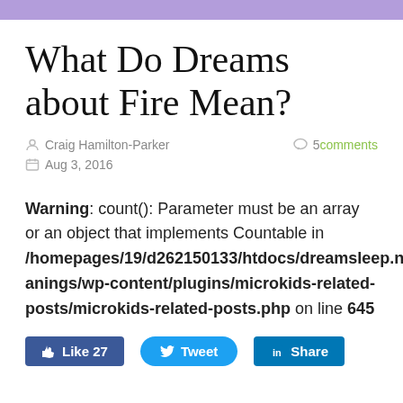What Do Dreams about Fire Mean?
Craig Hamilton-Parker   5 comments   Aug 3, 2016
Warning: count(): Parameter must be an array or an object that implements Countable in /homepages/19/d262150133/htdocs/dreamsleep.net/meanings/wp-content/plugins/microkids-related-posts/microkids-related-posts.php on line 645
[Figure (screenshot): Social sharing buttons: Like 27 (Facebook), Tweet (Twitter), Share (LinkedIn)]